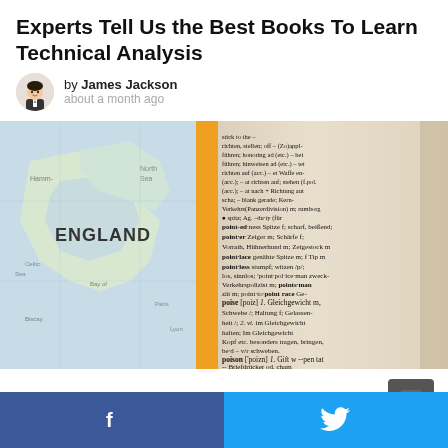Experts Tell Us the Best Books To Learn Technical Analysis
by James Jackson
about a month ago
[Figure (photo): Close-up photo of an open dictionary/book showing text, overlaid on left with a map showing England. An orange vertical stripe is visible between the map and book text.]
0 Shares